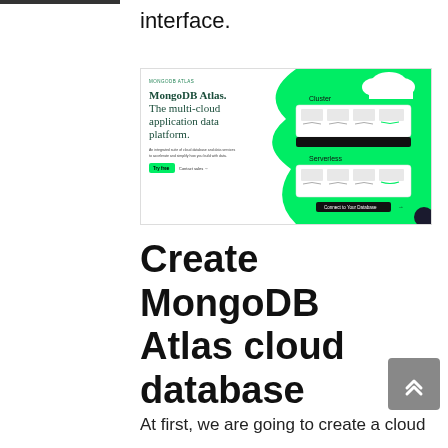interface.
[Figure (screenshot): MongoDB Atlas website screenshot showing the MongoDB Atlas landing page with the headline 'MongoDB Atlas. The multi-cloud application data platform.' and a green graphical UI showing cluster and serverless options on the right side.]
Create MongoDB Atlas cloud database
At first, we are going to create a cloud